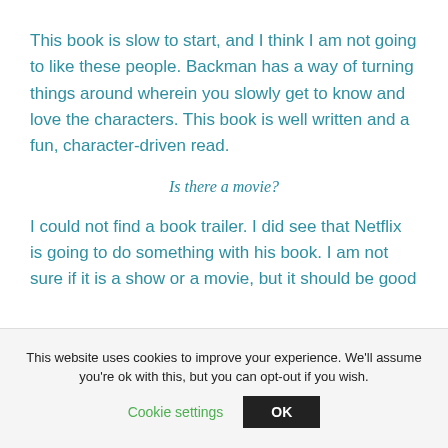This book is slow to start, and I think I am not going to like these people. Backman has a way of turning things around wherein you slowly get to know and love the characters. This book is well written and a fun, character-driven read.
Is there a movie?
I could not find a book trailer. I did see that Netflix is going to do something with his book. I am not sure if it is a show or a movie, but it should be good
This website uses cookies to improve your experience. We'll assume you're ok with this, but you can opt-out if you wish. Cookie settings OK